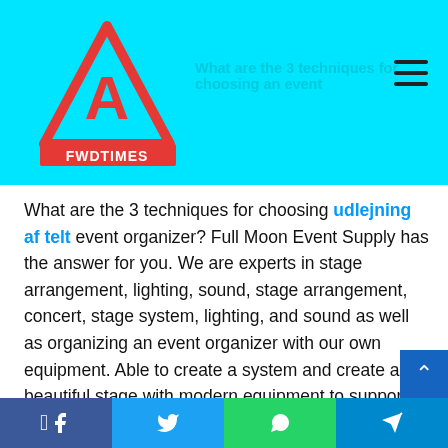What are the 3 techniques for choosing an event
[Figure (logo): FWD TIMES logo with red triangle/mountain icon and text]
What are the 3 techniques for choosing udlejning af telt event organizer? Full Moon Event Supply has the answer for you. We are experts in stage arrangement, lighting, sound, stage arrangement, concert, stage system, lighting, and sound as well as organizing an event organizer with our own equipment. Able to create a system and create a beautiful stage with modern equipment to support all types of events as well as having a professional team and modern equipment Support for small to large events, starting systems from stage rentals, sound lighting, concerts, events, booths, etc., to help you promote your products or business. To organize an event you need to find an organizer. Such as organizer in organiz